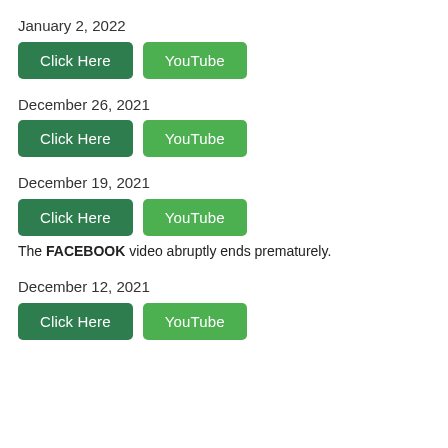January 2, 2022
[Figure (other): Two green buttons labeled 'Click Here' and 'YouTube']
December 26, 2021
[Figure (other): Two green buttons labeled 'Click Here' and 'YouTube']
December 19, 2021
[Figure (other): Two green buttons labeled 'Click Here' and 'YouTube']
The FACEBOOK video abruptly ends prematurely.
December 12, 2021
[Figure (other): Two green buttons labeled 'Click Here' and 'YouTube']